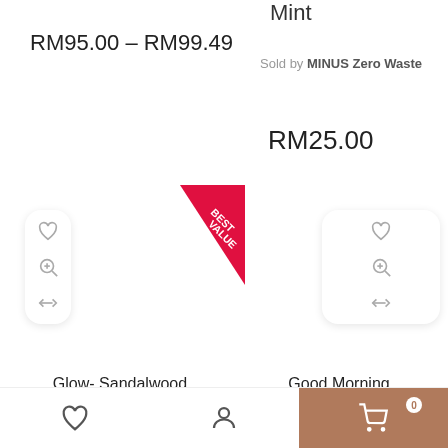Mint
RM95.00 – RM99.49
Sold by MINUS Zero Waste
RM25.00
[Figure (screenshot): Product listing page showing two product cards with Best Value ribbon, heart/zoom/compare icons, and product names: Glow- Sandalwood and Turmeric Bath; Good Morning Beautiful Gift Set]
Glow- Sandalwood and Turmeric Bath
Good Morning Beautiful Gift Set
Bottom navigation bar with wishlist, account, and cart (0) icons